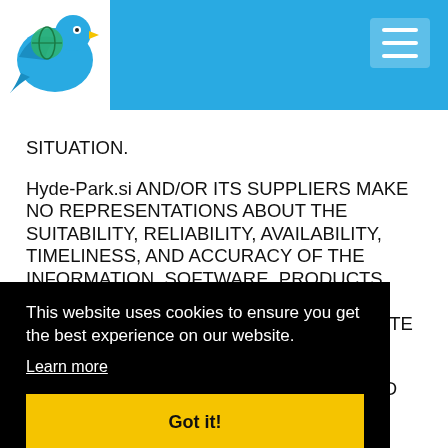Hyde-Park.si [logo and navigation header]
SITUATION.

Hyde-Park.si AND/OR ITS SUPPLIERS MAKE NO REPRESENTATIONS ABOUT THE SUITABILITY, RELIABILITY, AVAILABILITY, TIMELINESS, AND ACCURACY OF THE INFORMATION, SOFTWARE, PRODUCTS, SERVICES AND RELATED GRAPHICS CONTAINED ON THE Hyde-Park.si WEB SITE FOR ANY [PURPOSE. ALL SUCH INFORMATION IS PROVID]ED BY [CONTRACT. TO THE MAXIMUM EXTENT PERMITT]ED [BY APPLICABLE LAW, ALL SUCH INFORMATION, S]ERVICES, [PRODUCTS AND RELATED GRAPHICS ARE PROVIDED] TO DISCLA[IM WARRANTIES, LACK MERCANTILE STAND]ARD [CONDITION]S,
SERVICES AND RELATED GRAPHICS, INCLUDING AL
This website uses cookies to ensure you get the best experience on our website.
Learn more
Got it!